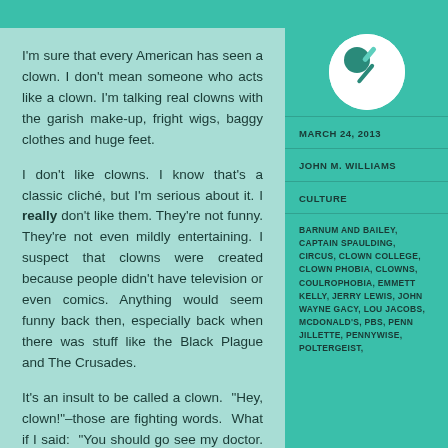[Figure (illustration): Teal/green push pin icon inside a white circle on a teal background]
MARCH 24, 2013
JOHN M. WILLIAMS
CULTURE
BARNUM AND BAILEY, CAPTAIN SPAULDING, CIRCUS, CLOWN COLLEGE, CLOWN PHOBIA, CLOWNS, COULROPHOBIA, EMMETT KELLY, JERRY LEWIS, JOHN WAYNE GACY, LOU JACOBS, MCDONALD'S, PBS, PENN JILLETTE, PENNYWISE, POLTERGEIST,
I'm sure that every American has seen a clown. I don't mean someone who acts like a clown. I'm talking real clowns with the garish make-up, fright wigs, baggy clothes and huge feet.
I don't like clowns. I know that's a classic cliché, but I'm serious about it. I really don't like them. They're not funny. They're not even mildly entertaining. I suspect that clowns were created because people didn't have television or even comics. Anything would seem funny back then, especially back when there was stuff like the Black Plague and The Crusades.
It's an insult to be called a clown.  "Hey, clown!"–those are fighting words.  What if I said:  "You should go see my doctor. He's a clown" ?  I guarantee you wouldn't. Clowns is one thing it's not...